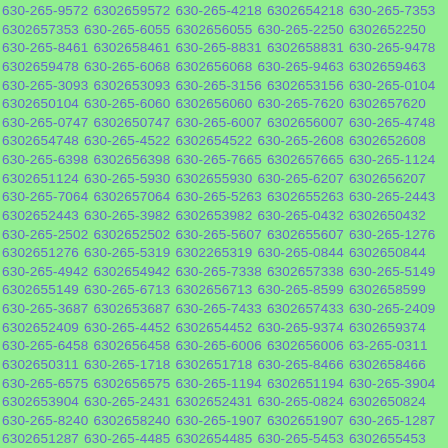630-265-9572 6302659572 630-265-4218 6302654218 630-265-7353 6302657353 630-265-6055 6302656055 630-265-2250 6302652250 630-265-8461 6302658461 630-265-8831 6302658831 630-265-9478 6302659478 630-265-6068 6302656068 630-265-9463 6302659463 630-265-3093 6302653093 630-265-3156 6302653156 630-265-0104 6302650104 630-265-6060 6302656060 630-265-7620 6302657620 630-265-0747 6302650747 630-265-6007 6302656007 630-265-4748 6302654748 630-265-4522 6302654522 630-265-2608 6302652608 630-265-6398 6302656398 630-265-7665 6302657665 630-265-1124 6302651124 630-265-5930 6302655930 630-265-6207 6302656207 630-265-7064 6302657064 630-265-5263 6302655263 630-265-2443 6302652443 630-265-3982 6302653982 630-265-0432 6302650432 630-265-2502 6302652502 630-265-5607 6302655607 630-265-1276 6302651276 630-265-5319 6302265319 630-265-0844 6302650844 630-265-4942 6302654942 630-265-7338 6302657338 630-265-5149 6302655149 630-265-6713 6302656713 630-265-8599 6302658599 630-265-3687 6302653687 630-265-7433 6302657433 630-265-2409 6302652409 630-265-4452 6302654452 630-265-9374 6302659374 630-265-6458 6302656458 630-265-6006 6302656006 63-265-0311 6302650311 630-265-1718 6302651718 630-265-8466 6302658466 630-265-6575 6302656575 630-265-1194 6302651194 630-265-3904 6302653904 630-265-2431 6302652431 630-265-0824 6302650824 630-265-8240 6302658240 630-265-1907 6302651907 630-265-1287 6302651287 630-265-4485 6302654485 630-265-5453 6302655453 630-265-3727 6302653727 630-265-7027 6302657027 630-265-6290